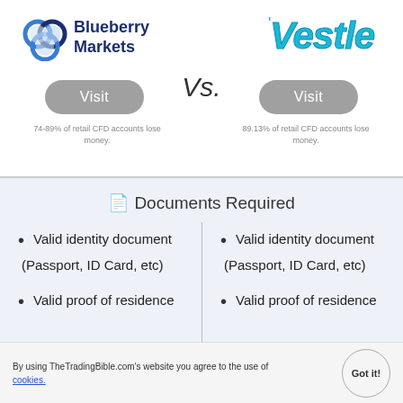[Figure (logo): Blueberry Markets logo with blue infinity/circles icon and bold dark blue text]
[Figure (logo): Vestle logo in teal/cyan stylized hand-drawn text]
Vs.
Visit
Visit
74-89% of retail CFD accounts lose money.
89.13% of retail CFD accounts lose money.
📄 Documents Required
Valid identity document (Passport, ID Card, etc)
Valid identity document (Passport, ID Card, etc)
Valid proof of residence
Valid proof of residence
By using TheTradingBible.com's website you agree to the use of cookies.